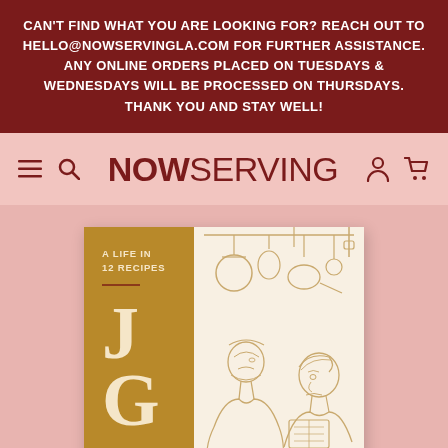CAN'T FIND WHAT YOU ARE LOOKING FOR? REACH OUT TO HELLO@NOWSERVINGLA.COM FOR FURTHER ASSISTANCE. ANY ONLINE ORDERS PLACED ON TUESDAYS & WEDNESDAYS WILL BE PROCESSED ON THURSDAYS. THANK YOU AND STAY WELL!
[Figure (logo): NOW SERVING logo with hamburger menu, search icon, user icon, and cart icon navigation bar]
[Figure (illustration): Book cover for 'A Life in 12 Recipes' showing initials J G on a golden-brown left panel, and a line-art illustration of kitchen/restaurant scene with figures and hanging pots on a cream right panel]